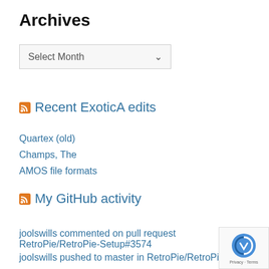Archives
[Figure (other): Dropdown select box labeled 'Select Month' with a chevron arrow]
Recent ExoticA edits
Quartex (old)
Champs, The
AMOS file formats
My GitHub activity
joolswills commented on pull request RetroPie/RetroPie-Setup#3574
joolswills pushed to master in RetroPie/RetroPie-Setup